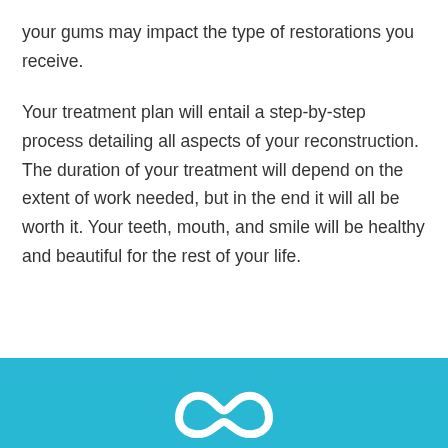your gums may impact the type of restorations you receive.
Your treatment plan will entail a step-by-step process detailing all aspects of your reconstruction. The duration of your treatment will depend on the extent of work needed, but in the end it will all be worth it. Your teeth, mouth, and smile will be healthy and beautiful for the rest of your life.
[Figure (logo): Light blue footer bar with a white wave/infinity-style logo centered at the bottom of the page]